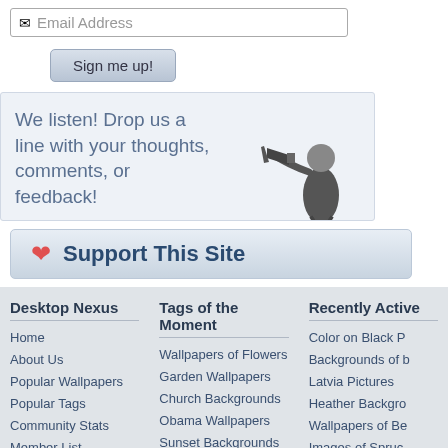[Figure (screenshot): Email address input field with envelope icon and placeholder text 'Email Address']
[Figure (screenshot): Button labeled 'Sign me up!']
We listen! Drop us a line with your thoughts, comments, or feedback!
[Figure (photo): Black and white photo of a man with a megaphone]
[Figure (screenshot): Support This Site button with red heart icon]
Desktop Nexus
Home
About Us
Popular Wallpapers
Popular Tags
Community Stats
Member List
Contact Us
Tags of the Moment
Wallpapers of Flowers
Garden Wallpapers
Church Backgrounds
Obama Wallpapers
Sunset Backgrounds
Thanksgiving Wallpapers
Christmas Wallpapers
Recently Active
Color on Black P
Backgrounds of b
Latvia Pictures
Heather Backgro
Wallpapers of Be
Images of Spruc
Poland Backgrou
Privacy Policy 🔒 | Terms of Service | Partnerships | DMCA Copyright Violation
© Desktop Nexus - All rights reserved.
Page rendered with 6 queries (and 0 cached) in 0.096 seconds from server 35.